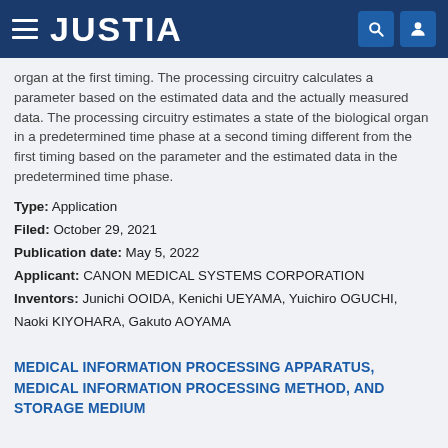JUSTIA
organ at the first timing. The processing circuitry calculates a parameter based on the estimated data and the actually measured data. The processing circuitry estimates a state of the biological organ in a predetermined time phase at a second timing different from the first timing based on the parameter and the estimated data in the predetermined time phase.
Type: Application
Filed: October 29, 2021
Publication date: May 5, 2022
Applicant: CANON MEDICAL SYSTEMS CORPORATION
Inventors: Junichi OOIDA, Kenichi UEYAMA, Yuichiro OGUCHI, Naoki KIYOHARA, Gakuto AOYAMA
MEDICAL INFORMATION PROCESSING APPARATUS, MEDICAL INFORMATION PROCESSING METHOD, AND STORAGE MEDIUM